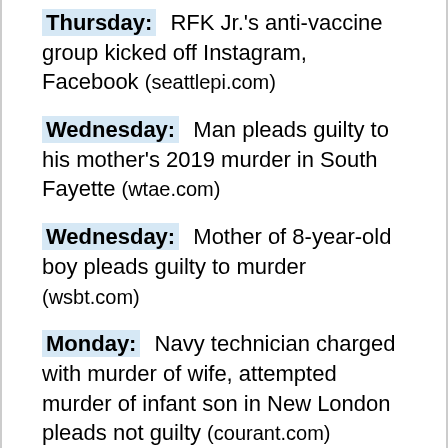Thursday: RFK Jr.'s anti-vaccine group kicked off Instagram, Facebook (seattlepi.com)
Wednesday: Man pleads guilty to his mother's 2019 murder in South Fayette (wtae.com)
Wednesday: Mother of 8-year-old boy pleads guilty to murder (wsbt.com)
Monday: Navy technician charged with murder of wife, attempted murder of infant son in New London pleads not guilty (courant.com)